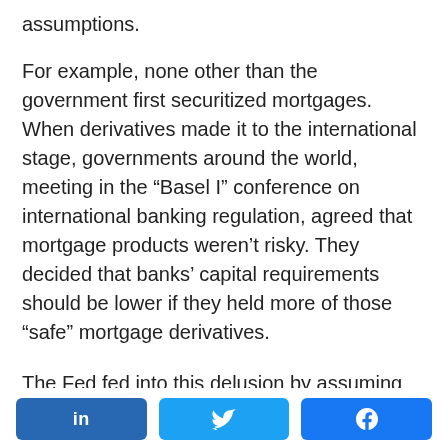assumptions.
For example, none other than the government first securitized mortgages. When derivatives made it to the international stage, governments around the world, meeting in the “Basel I” conference on international banking regulation, agreed that mortgage products weren’t risky. They decided that banks’ capital requirements should be lower if they held more of those “safe” mortgage derivatives.
The Fed fed into this delusion by assuming that derivatives like credit default swaps would let banks
LinkedIn | Twitter | Facebook